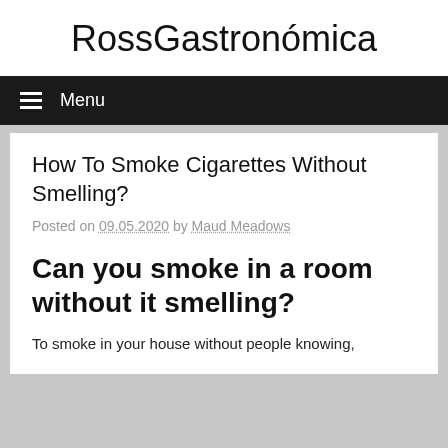RossGastronómica
Menu
How To Smoke Cigarettes Without Smelling?
Posted on 09.05.2020 by Maud Meadows
Can you smoke in a room without it smelling?
To smoke in your house without people knowing,